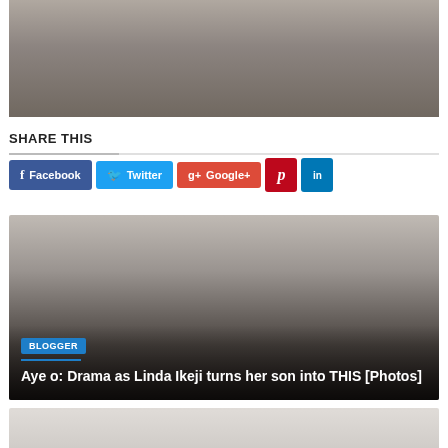[Figure (photo): Cropped photo showing lower body in grey clothing]
SHARE THIS
[Figure (infographic): Social share buttons: Facebook, Twitter, Google+, Pinterest, LinkedIn]
[Figure (photo): Article card with dark gradient overlay showing blogger badge and title: Aye o: Drama as Linda Ikeji turns her son into THIS [Photos]]
[Figure (photo): Second article card with blogger badge, partial view]